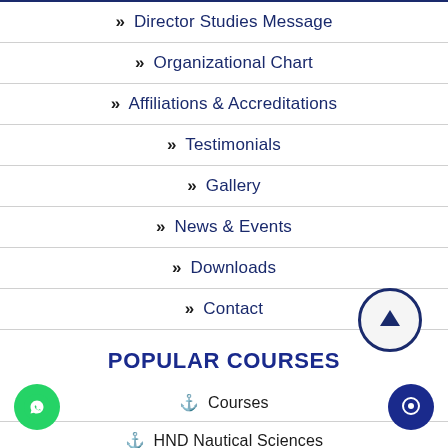» Director Studies Message
» Organizational Chart
» Affiliations & Accreditations
» Testimonials
» Gallery
» News & Events
» Downloads
» Contact
POPULAR COURSES
⚓ Courses
⚓ HND Nautical Sciences
⚓ HND Nautical Sciences
⚓ GB - III Rating Course